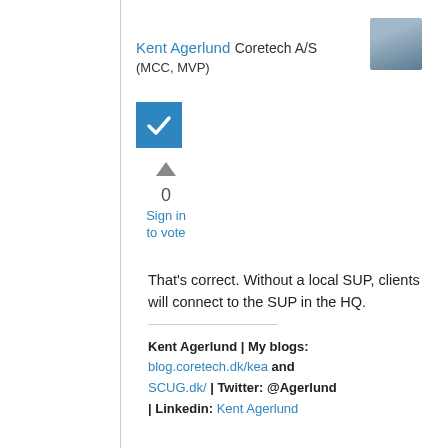[Figure (photo): Profile photo of Kent Agerlund, small avatar in top right corner]
Kent Agerlund Coretech A/S (MCC, MVP)
[Figure (other): Blue checkbox/checkmark icon indicating answer is accepted]
0
Sign in to vote
That's correct. Without a local SUP, clients will connect to the SUP in the HQ.
Kent Agerlund | My blogs: blog.coretech.dk/kea and SCUG.dk/ | Twitter: @Agerlund | Linkedin: Kent Agerlund